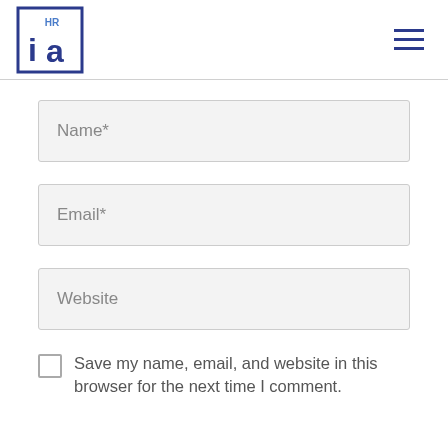ia HR logo and navigation menu
Name*
Email*
Website
Save my name, email, and website in this browser for the next time I comment.